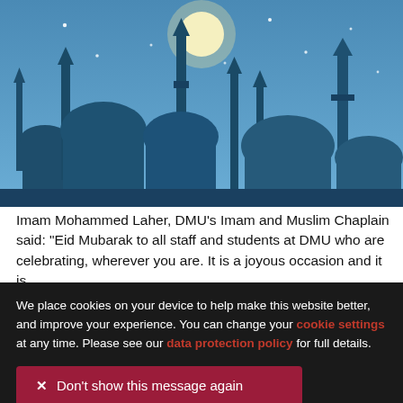[Figure (illustration): Illustrated night scene silhouette of mosque skyline with minarets and domes against a blue sky with a glowing moon and stars]
Imam Mohammed Laher, DMU's Imam and Muslim Chaplain said: “Eid Mubarak to all staff and students at DMU who are celebrating, wherever you are. It is a joyous occasion and it is
We place cookies on your device to help make this website better, and improve your experience. You can change your cookie settings at any time. Please see our data protection policy for full details.
✕  Don’t show this message again